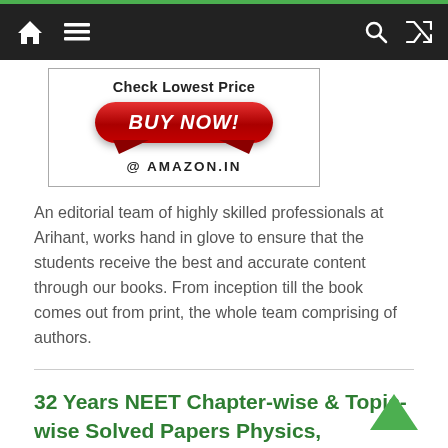Navigation bar with home, menu, search, and shuffle icons
[Figure (other): Advertisement box with 'Check Lowest Price' text and a red BUY NOW! button for Amazon.in]
An editorial team of highly skilled professionals at Arihant, works hand in glove to ensure that the students receive the best and accurate content through our books. From inception till the book comes out from print, the whole team comprising of authors.
32 Years NEET Chapter-wise & Topic-wise Solved Papers Physics, Chemistry &